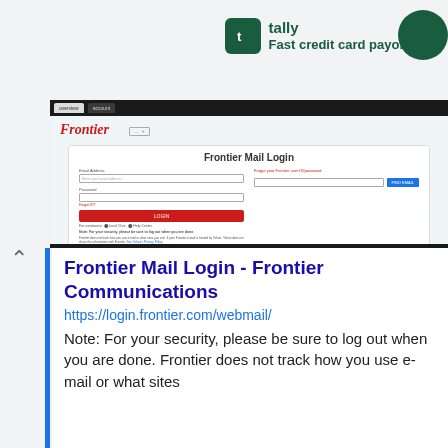[Figure (screenshot): Tally app advertisement banner with logo and tagline 'Fast credit card payoff']
[Figure (screenshot): Screenshot of Frontier Mail Login page at login.frontier.com/webmail showing login form with email and password fields, a red LOGIN button, and Frontier Communications branding]
Frontier Mail Login - Frontier Communications
https://login.frontier.com/webmail/
Note: For your security, please be sure to log out when you are done. Frontier does not track how you use e-mail or what sites